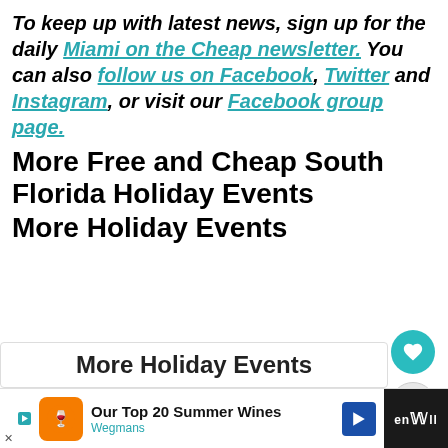To keep up with latest news, sign up for the daily Miami on the Cheap newsletter. You can also follow us on Facebook, Twitter and Instagram, or visit our Facebook group page.
More Free and Cheap South Florida Holiday Events
More Holiday Events
[Figure (other): More Holiday Events widget panel with heart and share buttons]
[Figure (other): Event card strip showing a Dino Safari event and What's Next panel with Tri-Rail offer]
[Figure (other): Advertisement bar: Our Top 20 Summer Wines - Wegmans]